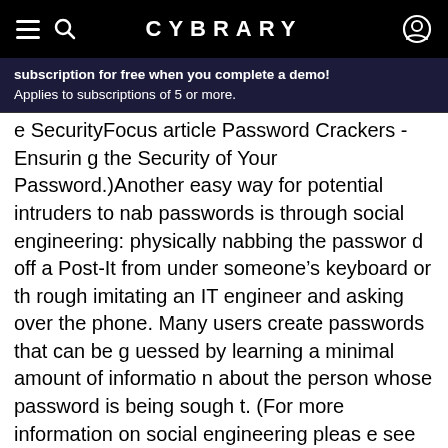CYBRARY
subscription for free when you complete a demo! Applies to subscriptions of 5 or more.
e SecurityFocus article Password Crackers - Ensuring the Security of Your Password.)Another easy way for potential intruders to nab passwords is through social engineering: physically nabbing the password off a Post-It from under someone’s keyboard or through imitating an IT engineer and asking over the phone. Many users create passwords that can be guessed by learning a minimal amount of information about the person whose password is being sought. (For more information on social engineering please see the SecurityFocus series Social Engineering Fundamentals) A more technical way of learning passwords is through sniffers, which look at the data transmitted across the net and decipher it. “A sniffer can read every keystroke sent out n